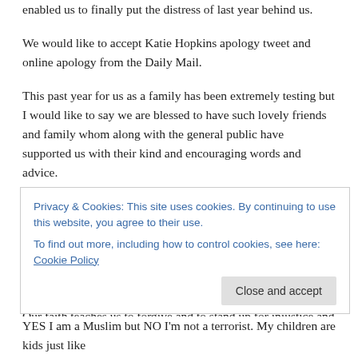enabled us to finally put the distress of last year behind us.
We would like to accept Katie Hopkins apology tweet and online apology from the Daily Mail.
This past year for us as a family has been extremely testing but I would like to say we are blessed to have such lovely friends and family whom along with the general public have supported us with their kind and encouraging words and advice.
Our local community and local MP have made a sterling effort in tacking Islamophobia. The dangers of targeting Muslim families and racially profiling them at airports under sch 7 and Prevent will further alienate communities which will only do more harm than good.
Our faith teaches us to forgive and to stand up for injustice and it is that
Privacy & Cookies: This site uses cookies. By continuing to use this website, you agree to their use.
To find out more, including how to control cookies, see here: Cookie Policy
YES I am a Muslim but NO I'm not a terrorist. My children are kids just like